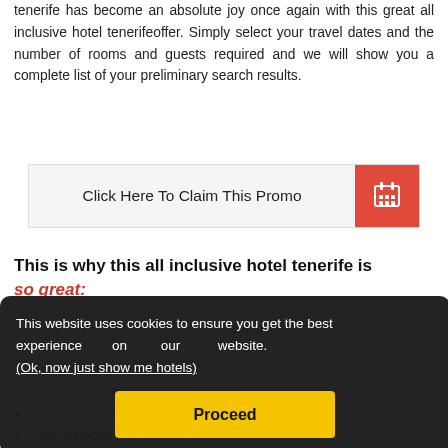tenerife has become an absolute joy once again with this great all inclusive hotel tenerifeoffer. Simply select your travel dates and the number of rooms and guests required and we will show you a complete list of your preliminary search results.
[Figure (other): Click Here To Claim This Promo button with red hotel icon on right]
This is why this all inclusive hotel tenerife is so great:
This website uses cookies to ensure you get the best experience on our website. (Ok, now just show me hotels)
Booking fully online – book from the comfort of your own home, at any time.
No upfront payments required
No extra booking fees
Choose your own luxurious hotel room
Free unlimited WiFi at your room